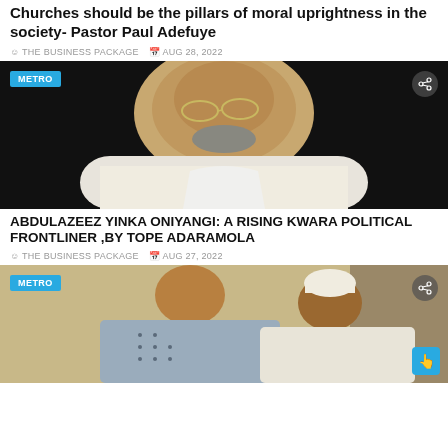Churches should be the pillars of moral uprightness in the society- Pastor Paul Adefuye
THE BUSINESS PACKAGE  Aug 28, 2022
[Figure (photo): Close-up photo of a man wearing glasses and a white shirt, against a dark background, with a METRO badge overlay]
ABDULAZEEZ YINKA ONIYANGI: A RISING KWARA POLITICAL FRONTLINER ,By Tope Adaramola
THE BUSINESS PACKAGE  Aug 27, 2022
[Figure (photo): Photo of two men seated indoors, one wearing a patterned agbada and one in white traditional attire with a white cap, with a METRO badge overlay]